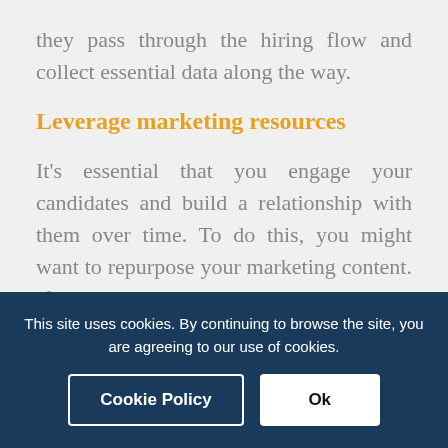they pass through the hiring flow and collect essential data along the way.
Leverage marketing resources
It's essential that you engage your candidates and build a relationship with them over time. To do this, you might want to repurpose your marketing content. If your marketing department maintains a blog, why not send essential
This site uses cookies. By continuing to browse the site, you are agreeing to our use of cookies.
Cookie Policy
Ok